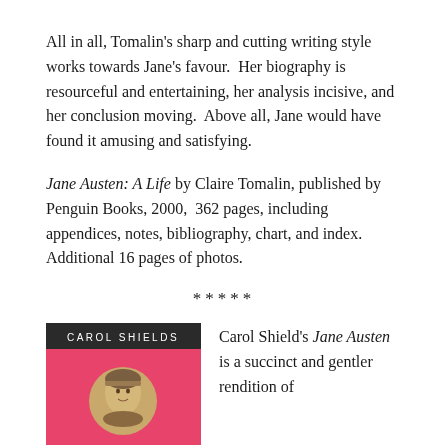All in all, Tomalin's sharp and cutting writing style works towards Jane's favour.  Her biography is resourceful and entertaining, her analysis incisive, and her conclusion moving.  Above all, Jane would have found it amusing and satisfying.
Jane Austen: A Life by Claire Tomalin, published by Penguin Books, 2000,  362 pages, including appendices, notes, bibliography, chart, and index. Additional 16 pages of photos.
*****
[Figure (illustration): Book cover of Carol Shields' Jane Austen biography showing a pink cover with a portrait of a woman in a circular frame, with author name 'CAROL SHIELDS' in white text on a dark banner at top.]
Carol Shield's Jane Austen is a succinct and gentler rendition of